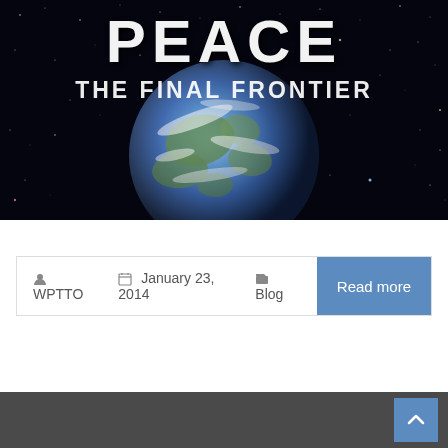[Figure (illustration): Space background image with Earth globe visible in center, surrounded by stars/galaxies on black background. Large text overlay reads 'PEACE' at top and 'THE FINAL FRONTIER' below it in white futuristic font.]
WPTTO   January 23, 2014   Blog
Read more